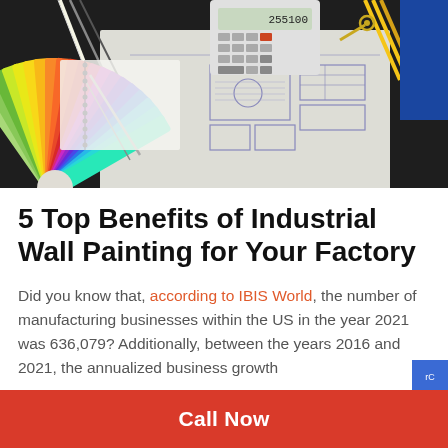[Figure (photo): Overhead view of architectural blueprints on a desk with a calculator, compass pen, notebook, pencils, and a colorful fan of paint color swatches spread across the blueprints, on a dark background.]
5 Top Benefits of Industrial Wall Painting for Your Factory
Did you know that, according to IBIS World, the number of manufacturing businesses within the US in the year 2021 was 636,079? Additionally, between the years 2016 and 2021, the annualized business growth
Call Now